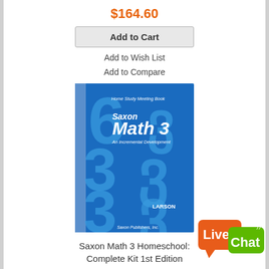$164.60
Add to Cart
Add to Wish List
Add to Compare
[Figure (photo): Book cover of Saxon Math 3 Homeschool: Home Study Meeting Book by Larson. Blue cover with large light blue numbers (6, 3, 3, 3) and title 'Saxon Math 3 An Incremental Development'. Publisher: Saxon Publishers, Inc.]
Saxon Math 3 Homeschool: Complete Kit 1st Edition
[Figure (logo): Live Chat button/badge with orange and green speech bubble design]